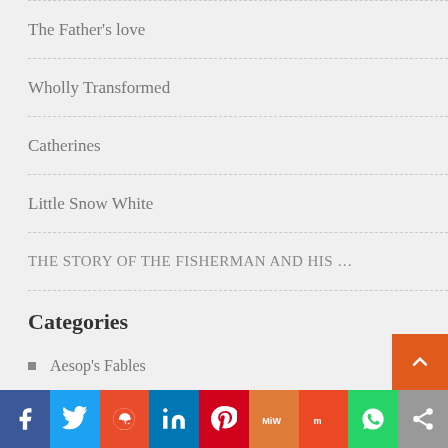The Father's love
Wholly Transformed
Catherines
Little Snow White
THE STORY OF THE FISHERMAN AND HIS …
Categories
Aesop's Fables
Animal Tales
Arabian Nights Stories